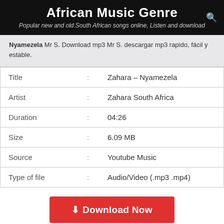African Music Genre
Popular new and old South African songs online, Listen and download
Nyamezela Mr S. Download mp3 Mr S. descargar mp3 rapido, fácil y estable.
| Title | : | Zahara – Nyamezela |
| Artist | : | Zahara South Africa |
| Duration | : | 04:26 |
| Size | : | 6.09 MB |
| Source | : | Youtube Music |
| Type of file | : | Audio/Video (.mp3 .mp4) |
Download Now
Si aparece la página de anuncios, cierre la página